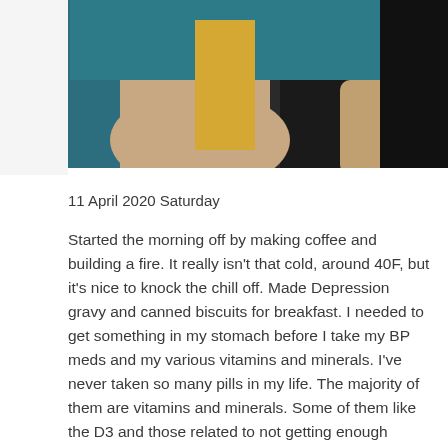[Figure (photo): A photograph showing a person's arms and hands, wearing a dark teal shirt. In the middle of the image there is a yellow object (possibly a book or case). The background is partially dark on the right side.]
11 April 2020 Saturday
Started the morning off by making coffee and building a fire. It really isn't that cold, around 40F, but it's nice to knock the chill off. Made Depression gravy and canned biscuits for breakfast. I needed to get something in my stomach before I take my BP meds and my various vitamins and minerals. I've never taken so many pills in my life. The majority of them are vitamins and minerals. Some of them like the D3 and those related to not getting enough sunlight will be discontinued until next fall. We'll start getting 18-20 hours of daylight for a while.